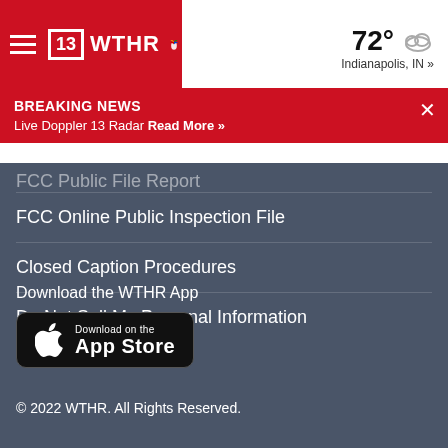13 WTHR | 72° Indianapolis, IN »
BREAKING NEWS
Live Doppler 13 Radar Read More »
FCC Public File Report
FCC Online Public Inspection File
Closed Caption Procedures
Do Not Sell My Personal Information
Download the WTHR App
[Figure (logo): Download on the App Store button]
© 2022 WTHR. All Rights Reserved.